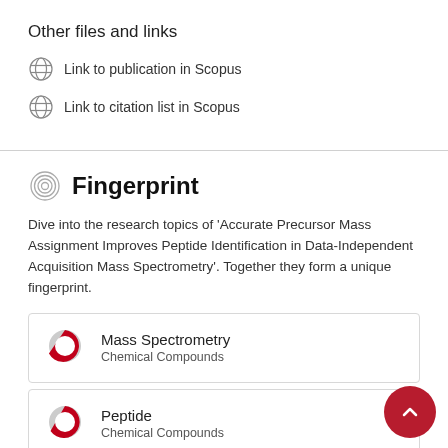Other files and links
Link to publication in Scopus
Link to citation list in Scopus
Fingerprint
Dive into the research topics of 'Accurate Precursor Mass Assignment Improves Peptide Identification in Data-Independent Acquisition Mass Spectrometry'. Together they form a unique fingerprint.
[Figure (infographic): Donut chart for Mass Spectrometry - Chemical Compounds, approximately 70% fill]
Mass Spectrometry
Chemical Compounds
[Figure (infographic): Donut chart for Peptide - Chemical Compounds, approximately 65% fill]